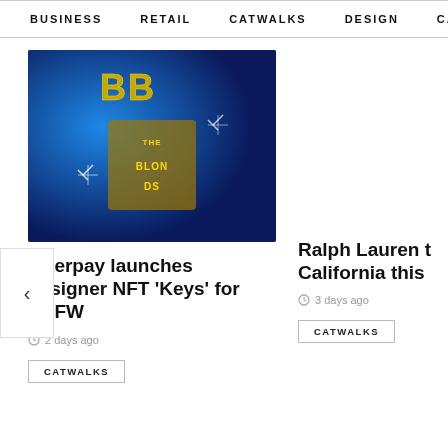BUSINESS   RETAIL   CATWALKS   DESIGN   CAMI  >
[Figure (photo): Gold bejeweled key/trophy shaped like 'BB' and 'THE BLONDS' text logo against a blue background, with sparkle effects]
Afterpay launches designer NFT 'Keys' for NYFW
2 days ago
CATWALKS
Ralph Lauren t California this
3 days ago
CATWALKS